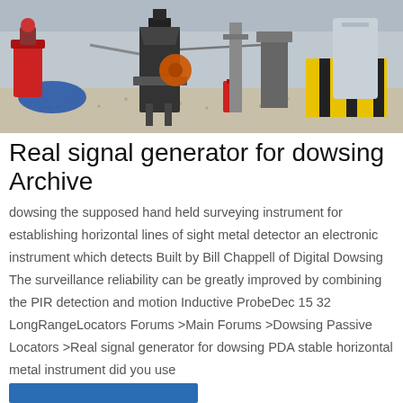[Figure (photo): Industrial facility interior with machinery, gravel floor, red and yellow safety markings, various industrial equipment]
Real signal generator for dowsing Archive
dowsing the supposed hand held surveying instrument for establishing horizontal lines of sight metal detector an electronic instrument which detects Built by Bill Chappell of Digital Dowsing The surveillance reliability can be greatly improved by combining the PIR detection and motion Inductive ProbeDec 15 32 LongRangeLocators Forums >Main Forums >Dowsing Passive Locators >Real signal generator for dowsing PDA stable horizontal metal instrument did you use